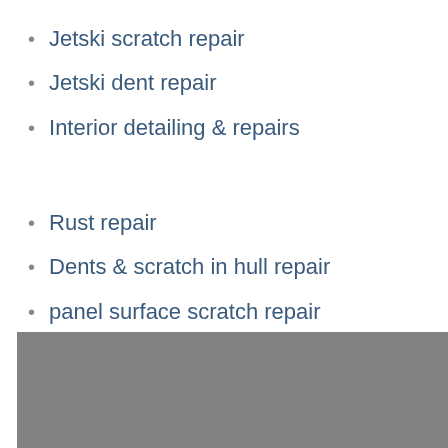Jetski scratch repair
Jetski dent repair
Interior detailing & repairs
Rust repair
Dents & scratch in hull repair
panel surface scratch repair
[Figure (photo): Grey image/photo at bottom of page]